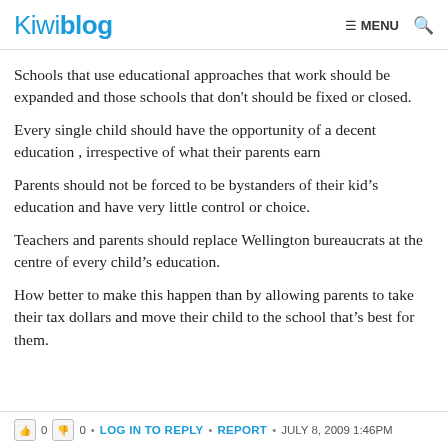Kiwiblog  ☰ MENU  🔍
Schools that use educational approaches that work should be expanded and those schools that don't should be fixed or closed.
Every single child should have the opportunity of a decent education , irrespective of what their parents earn
Parents should not be forced to be bystanders of their kid's education and have very little control or choice.
Teachers and parents should replace Wellington bureaucrats at the centre of every child's education.
How better to make this happen than by allowing parents to take their tax dollars and move their child to the school that's best for them.
0  0  •  LOG IN TO REPLY  •  REPORT  •  JULY 8, 2009 1:46PM